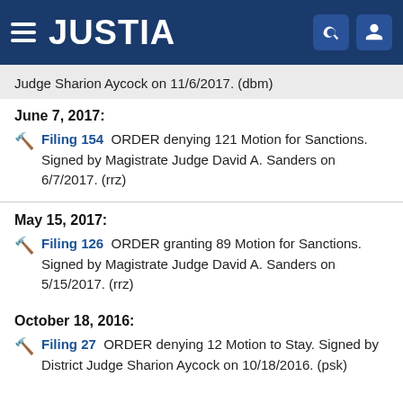JUSTIA
Judge Sharion Aycock on 11/6/2017. (dbm)
June 7, 2017:
Filing 154  ORDER denying 121 Motion for Sanctions. Signed by Magistrate Judge David A. Sanders on 6/7/2017. (rrz)
May 15, 2017:
Filing 126  ORDER granting 89 Motion for Sanctions. Signed by Magistrate Judge David A. Sanders on 5/15/2017. (rrz)
October 18, 2016:
Filing 27  ORDER denying 12 Motion to Stay. Signed by District Judge Sharion Aycock on 10/18/2016. (psk)